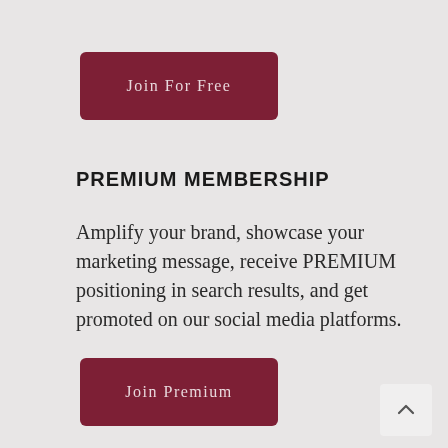[Figure (other): Dark red button with text 'Join For Free']
PREMIUM MEMBERSHIP
Amplify your brand, showcase your marketing message, receive PREMIUM positioning in search results, and get promoted on our social media platforms.
[Figure (other): Dark red button with text 'Join Premium']